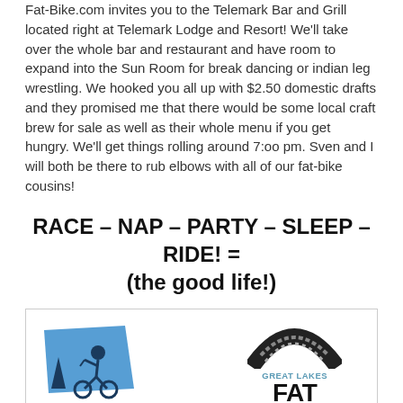Fat-Bike.com invites you to the Telemark Bar and Grill located right at Telemark Lodge and Resort! We'll take over the whole bar and restaurant and have room to expand into the Sun Room for break dancing or indian leg wrestling. We hooked you all up with $2.50 domestic drafts and they promised me that there would be some local craft brew for sale as well as their whole menu if you get hungry. We'll get things rolling around 7:00 pm. Sven and I will both be there to rub elbows with all of our fat-bike cousins!
RACE – NAP – PARTY – SLEEP – RIDE! = (the good life!)
[Figure (logo): Two logos side by side: left is 9:ZERO:7 Wisconsin State Fat Bike Race Series with a cyclist silhouette on blue background; right is Great Lakes Fat Bike Series with a large tire graphic.]
[Figure (illustration): Row of five social media icon circles: Facebook (blue, f), Google+ (red, G+), Twitter (blue, bird), Tumblr (dark blue, t), Email (grey, envelope). An arrow pointing right appears at bottom right.]
Support the Folks that bring you Quality